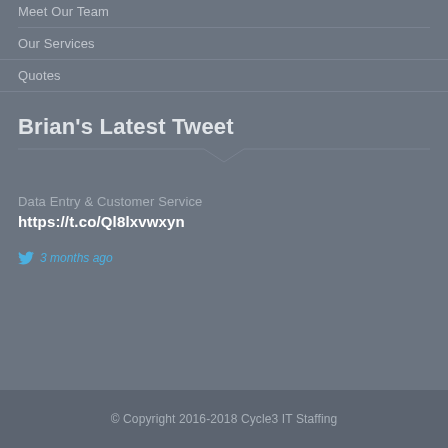Meet Our Team
Our Services
Quotes
Brian's Latest Tweet
Data Entry & Customer Service
https://t.co/Ql8lxvwxyn
3 months ago
© Copyright 2016-2018 Cycle3 IT Staffing